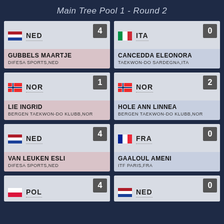Main Tree Pool 1 - Round 2
[Figure (infographic): Match card: NED (score 4) vs ITA (score 0). NED: GUBBELS MAARTJE, DIFESA SPORTS,NED. ITA: CANCEDDA ELEONORA, TAEKWON-DO SARDEGNA,ITA]
[Figure (infographic): Match card: NOR (score 1) vs NOR (score 2). NOR: LIE INGRID, BERGEN TAEKWON-DO KLUBB,NOR. NOR: HOLE ANN LINNEA, BERGEN TAEKWON-DO KLUBB,NOR]
[Figure (infographic): Match card: NED (score 4) vs FRA (score 0). NED: VAN LEUKEN ESLI, DIFESA SPORTS,NED. FRA: GAALOUL AMENI, ITF PARIS,FRA]
[Figure (infographic): Match card: POL (score 4) vs NED (score 0). Partially visible at bottom.]